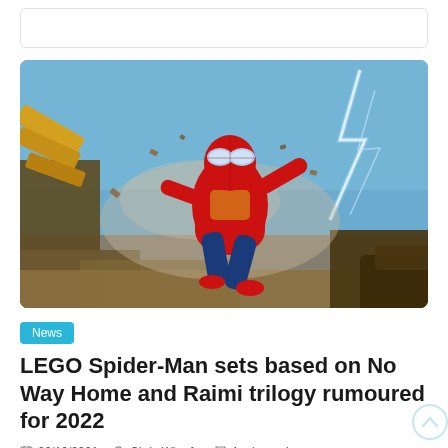[Figure (photo): Spider-Man in red and gold suit posed dynamically mid-air with lightning and debris in background, promotional movie image for Spider-Man: No Way Home]
News
LEGO Spider-Man sets based on No Way Home and Raimi trilogy rumoured for 2022
23/12/2021   Chris Wharfe   1 min read